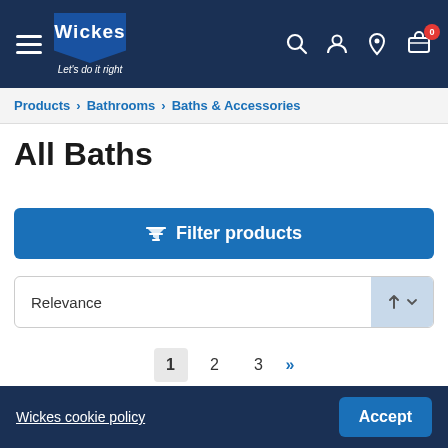[Figure (screenshot): Wickes website header with logo, hamburger menu, search, account, location, and cart icons on dark navy background]
Products > Bathrooms > Baths & Accessories
All Baths
Filter products
Relevance
1  2  3  »
Wickes cookie policy   Accept